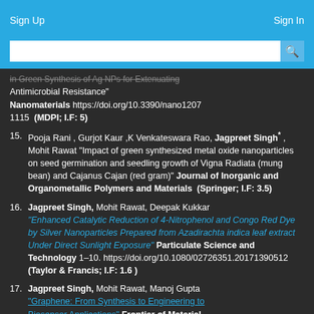Sign Up   Sign In
in Green Synthesis of Ag NPs for Extenuating Antimicrobial Resistance" Nanomaterials https://doi.org/10.3390/nano12071115 (MDPI; I.F: 5)
15. Pooja Rani , Gurjot Kaur ,K Venkateswara Rao, Jagpreet Singh* , Mohit Rawat "Impact of green synthesized metal oxide nanoparticles on seed germination and seedling growth of Vigna Radiata (mung bean) and Cajanus Cajan (red gram)" Journal of Inorganic and Organometallic Polymers and Materials (Springer; I.F: 3.5)
16. Jagpreet Singh, Mohit Rawat, Deepak Kukkar "Enhanced Catalytic Reduction of 4-Nitrophenol and Congo Red Dye by Silver Nanoparticles Prepared from Azadirachta indica leaf extract Under Direct Sunlight Exposure" Particulate Science and Technology 1-10. https://doi.org/10.1080/02726351.20171390512 (Taylor & Francis; I.F: 1.6)
17. Jagpreet Singh, Mohit Rawat, Manoj Gupta "Graphene: From Synthesis to Engineering to Biosensor Applications" Frontier of Material